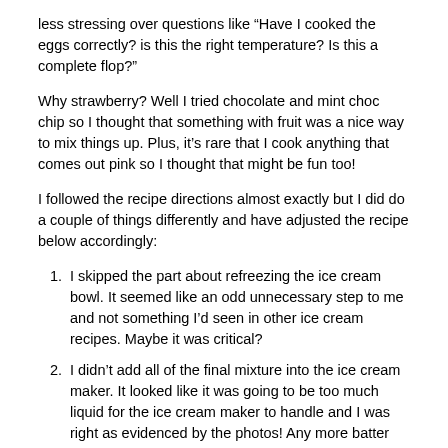less stressing over questions like “Have I cooked the eggs correctly? is this the right temperature? Is this a complete flop?”
Why strawberry? Well I tried chocolate and mint choc chip so I thought that something with fruit was a nice way to mix things up. Plus, it’s rare that I cook anything that comes out pink so I thought that might be fun too!
I followed the recipe directions almost exactly but I did do a couple of things differently and have adjusted the recipe below accordingly:
I skipped the part about refreezing the ice cream bowl. It seemed like an odd unnecessary step to me and not something I’d seen in other ice cream recipes. Maybe it was critical?
I didn’t add all of the final mixture into the ice cream maker. It looked like it was going to be too much liquid for the ice cream maker to handle and I was right as evidenced by the photos! Any more batter and that thing was going to come pouring out of the machine.